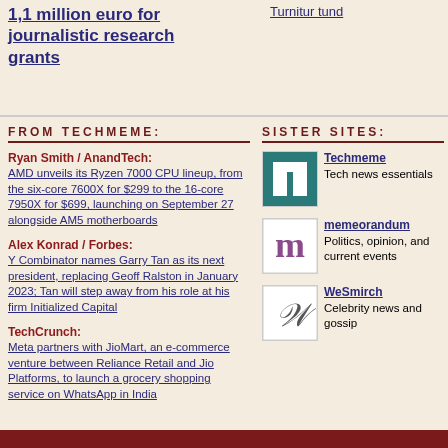1,1 million euro for journalistic research grants
FROM TECHMEME:
SISTER SITES:
Ryan Smith / AnandTech: AMD unveils its Ryzen 7000 CPU lineup, from the six-core 7600X for $299 to the 16-core 7950X for $699, launching on September 27 alongside AM5 motherboards
Alex Konrad / Forbes: Y Combinator names Garry Tan as its next president, replacing Geoff Ralston in January 2023; Tan will step away from his role at his firm Initialized Capital
TechCrunch: Meta partners with JioMart, an e-commerce venture between Reliance Retail and Jio Platforms, to launch a grocery shopping service on WhatsApp in India
[Figure (logo): Techmeme logo - teal square with white T]
Techmeme Tech news essentials
[Figure (logo): memeorandum logo - white square with purple m]
memeorandum Politics, opinion, and current events
[Figure (logo): WeSmirch logo - white square with italic W]
WeSmirch Celebrity news and gossip